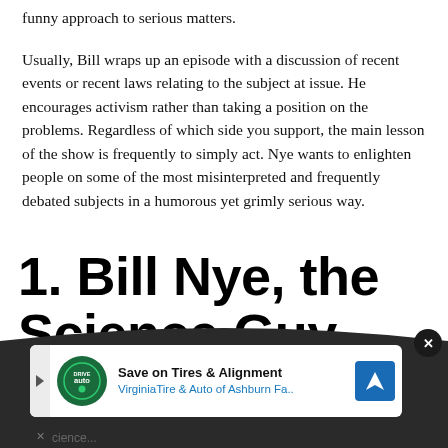funny approach to serious matters.
Usually, Bill wraps up an episode with a discussion of recent events or recent laws relating to the subject at issue. He encourages activism rather than taking a position on the problems. Regardless of which side you support, the main lesson of the show is frequently to simply act. Nye wants to enlighten people on some of the most misinterpreted and frequently debated subjects in a humorous yet grimly serious way.
1. Bill Nye, the Science Guy
[Figure (other): Advertisement banner for Virginia Tire & Auto of Ashburn showing logo, 'Save on Tires & Alignment' text, and a navigation icon, overlaid on a dark curved background with a close button.]